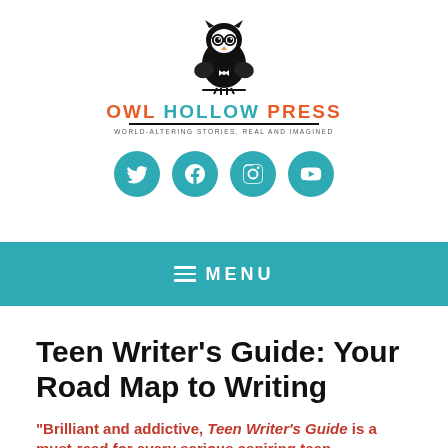[Figure (logo): Owl Hollow Press logo: cartoon owl with glasses above the text OWL HOLLOW PRESS with tagline WORLD-ALTERING STORIES, REAL AND IMAGINED]
[Figure (infographic): Four teal circular social media icons: Twitter, Facebook, Instagram, YouTube]
≡ MENU
Teen Writer's Guide: Your Road Map to Writing
"Brilliant and addictive, Teen Writer's Guide is a must-read for every serious aspiring teen